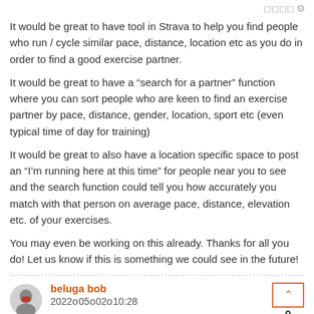◻◻◻◻⚙
It would be great to have tool in Strava to help you find people who run / cycle similar pace, distance, location etc as you do in order to find a good exercise partner.
It would be great to have a “search for a partner” function where you can sort people who are keen to find an exercise partner by pace, distance, gender, location, sport etc (even typical time of day for training)
It would be great to also have a location specific space to post an “I’m running here at this time” for people near you to see and the search function could tell you how accurately you match with that person on average pace, distance, elevation etc. of your exercises.
You may even be working on this already. Thanks for all you do! Let us know if this is something we could see in the future!
beluga bob
2022 05 02 10:28
When two or more people take part in an activity at the same time/place, this is shown as a group activity.